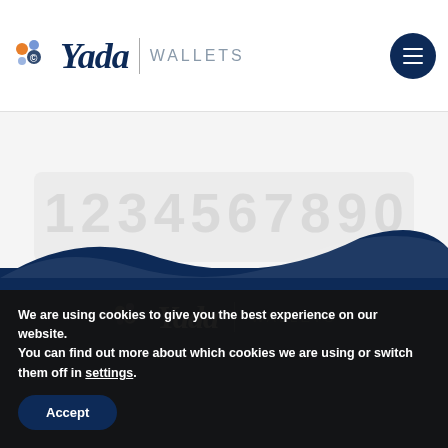[Figure (logo): Yada Wallets logo with colorful dots icon, italic dark blue 'Yada' text, vertical divider, and 'WALLETS' text in grey uppercase letters, plus hamburger menu circle button]
[Figure (illustration): Faded light grey background area with faint large numbers or text, partially visible watermark 'coinzitta' in gold/yellow italic text]
[Figure (illustration): Dark navy blue wave section with Yada Wallets footer logo in white]
We are using cookies to give you the best experience on our website.
You can find out more about which cookies we are using or switch them off in settings.
Accept